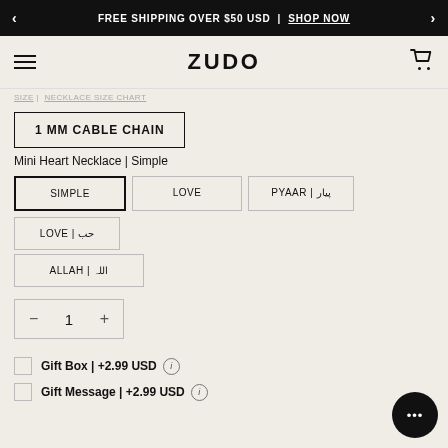< FREE SHIPPING OVER $50 USD | SHOP NOW >
ZUDO
SIZE | NECKLACE SIZE CHART
1 MM CABLE CHAIN
Mini Heart Necklace | Simple
SIMPLE
LOVE
PYAAR | پیار
LOVE | حب
ALLAH | اللہ
- 1 +
Gift Box | +2.99 USD ⓘ
Gift Message | +2.99 USD ⓘ